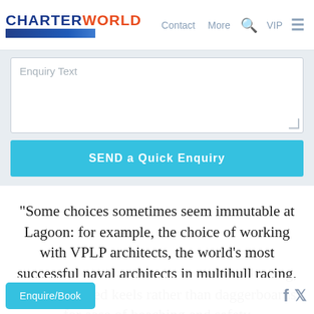[Figure (logo): CharterWorld logo with blue CHARTER and red WORLD text, blue map banner below]
Contact   More   VIP   ☰
Enquiry Text
SEND a Quick Enquiry
"Some choices sometimes seem immutable at Lagoon: for example, the choice of working with VPLP architects, the world's most successful naval architects in multihull racing, or that of fixed keels rather than daggerboards for ease of beaching and safety
Enquire/Book